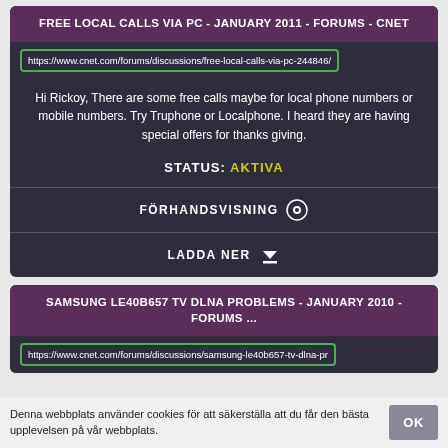FREE LOCAL CALLS VIA PC - JANUARY 2011 - FORUMS - CNET
https://www.cnet.com/forums/discussions/free-local-calls-via-pc-244846/
Hi Rickoy, There are some free calls maybe for local phone numbers or mobile numbers. Try Truphone or Localphone. I heard they are having special offers for thanks giving.
STATUS: AKTIVA
FÖRHANDSVISNING
LADDA NER
SAMSUNG LE40B657 TV DLNA PROBLEMS - JANUARY 2010 - FORUMS ...
https://www.cnet.com/forums/discussions/samsung-le40b657-tv-dlna-pr
Denna webbplats använder cookies för att säkerställa att du får den bästa upplevelsen på vår webbplats.